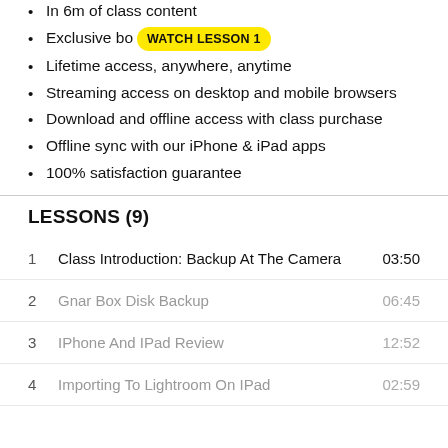In 6m of class content
Exclusive bo… [WATCH LESSON 1 badge]
Lifetime access, anywhere, anytime
Streaming access on desktop and mobile browsers
Download and offline access with class purchase
Offline sync with our iPhone & iPad apps
100% satisfaction guarantee
LESSONS (9)
1  Class Introduction: Backup At The Camera  03:50
2  Gnar Box Disk Backup  06:45
3  IPhone And IPad Review  12:52
4  Importing To Lightroom On IPad  02:59